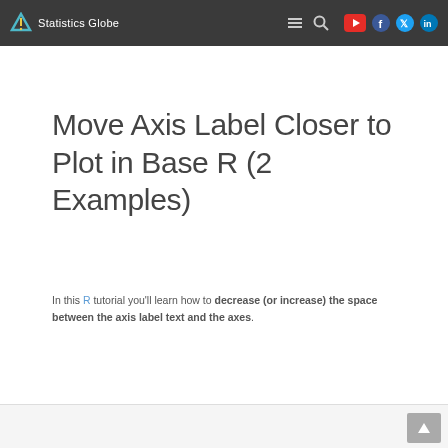Statistics Globe
Move Axis Label Closer to Plot in Base R (2 Examples)
In this R tutorial you'll learn how to decrease (or increase) the space between the axis label text and the axes.